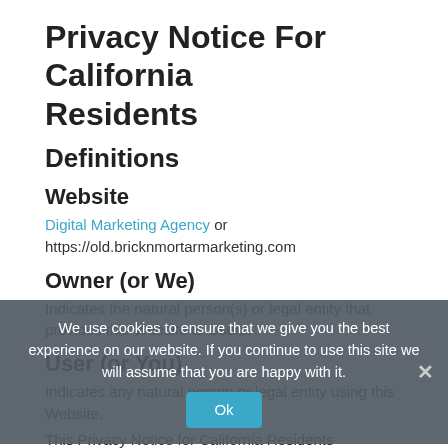Privacy Notice For California Residents
Definitions
Website
Digital Marketing Agency or https://old.bricknmortarmarketing.com
Owner (or We)
Indicates the natural person(s) or legal entity that provides this Website to Users.
User (or You)
Indicates any natural person or legal entity using this Website.
This Privacy Notice for California Residents supplements the information contained in the Website's Privacy Policy and applies solely to all visitors, users, and others who reside in the State of California. We adopted this...
We use cookies to ensure that we give you the best experience on our website. If you continue to use this site we will assume that you are happy with it.